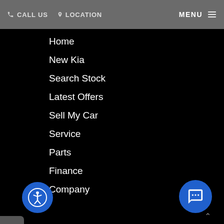CALL US  LOCATION  MENU
Home
New Kia
Search Stock
Latest Offers
Sell My Car
Service
Parts
Finance
Company
SOCIAL ME...
[Figure (screenshot): Chat popup with avatar photo of a woman and text: Hi there, have a question? Text us here. Close button visible top right.]
[Figure (screenshot): Social media icons: Facebook (f), Twitter bird, Instagram, and one more icon in white rounded squares on black background.]
[Figure (screenshot): Blue accessibility icon (person in circle) bottom left, blue chat FAB button bottom right with message icon.]